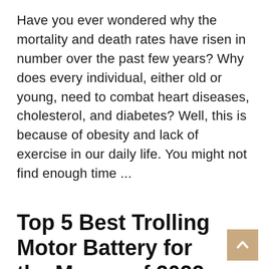Have you ever wondered why the mortality and death rates have risen in number over the past few years? Why does every individual, either old or young, need to combat heart diseases, cholesterol, and diabetes? Well, this is because of obesity and lack of exercise in our daily life. You might not find enough time ...
Read More »
Top 5 Best Trolling Motor Battery for the Money of 2022